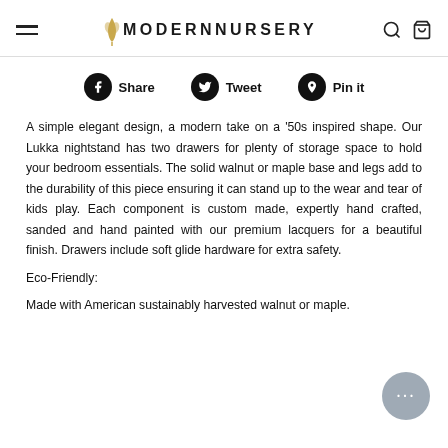MODERN NURSERY
Share  Tweet  Pin it
A simple elegant design, a modern take on a ’50s inspired shape. Our Lukka nightstand has two drawers for plenty of storage space to hold your bedroom essentials. The solid walnut or maple base and legs add to the durability of this piece ensuring it can stand up to the wear and tear of kids play. Each component is custom made, expertly hand crafted, sanded and hand painted with our premium lacquers for a beautiful finish. Drawers include soft glide hardware for extra safety.
Eco-Friendly:
Made with American sustainably harvested walnut or maple.